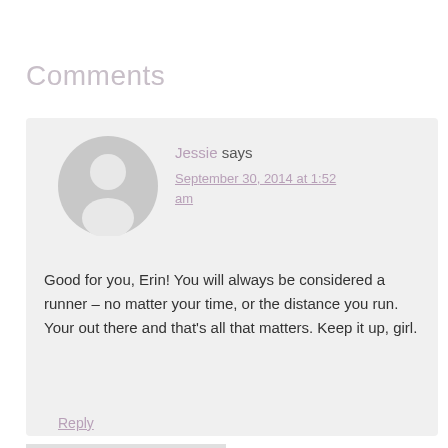Comments
[Figure (illustration): Default user avatar — grey circle with white silhouette of a person (head and shoulders)]
Jessie says
September 30, 2014 at 1:52 am
Good for you, Erin! You will always be considered a runner – no matter your time, or the distance you run. Your out there and that's all that matters. Keep it up, girl.
Reply